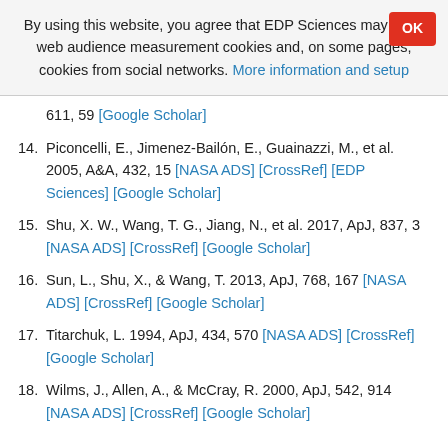By using this website, you agree that EDP Sciences may store web audience measurement cookies and, on some pages, cookies from social networks. More information and setup
611, 59 [Google Scholar]
14. Piconcelli, E., Jimenez-Bailón, E., Guainazzi, M., et al. 2005, A&A, 432, 15 [NASA ADS] [CrossRef] [EDP Sciences] [Google Scholar]
15. Shu, X. W., Wang, T. G., Jiang, N., et al. 2017, ApJ, 837, 3 [NASA ADS] [CrossRef] [Google Scholar]
16. Sun, L., Shu, X., & Wang, T. 2013, ApJ, 768, 167 [NASA ADS] [CrossRef] [Google Scholar]
17. Titarchuk, L. 1994, ApJ, 434, 570 [NASA ADS] [CrossRef] [Google Scholar]
18. Wilms, J., Allen, A., & McCray, R. 2000, ApJ, 542, 914 [NASA ADS] [CrossRef] [Google Scholar]